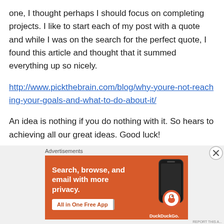one, I thought perhaps I should focus on completing projects.  I like to start each of my post with a quote and while I was on the search for the perfect quote, I found this article and thought that it summed everything up so nicely.
http://www.pickthebrain.com/blog/why-youre-not-reaching-your-goals-and-what-to-do-about-it/
An idea is nothing if you do nothing with it.  So hears to achieving all our great ideas.  Good luck!
Advertisements
[Figure (photo): DuckDuckGo advertisement banner on orange background showing 'Search, browse, and email with more privacy. All in One Free App' with a phone image and DuckDuckGo logo]